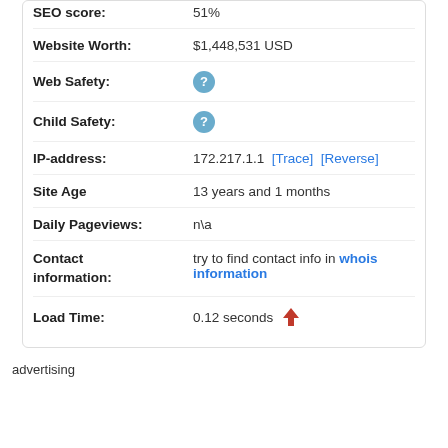| Field | Value |
| --- | --- |
| SEO score: | 51% |
| Website Worth: | $1,448,531 USD |
| Web Safety: | ? |
| Child Safety: | ? |
| IP-address: | 172.217.1.1  [Trace]  [Reverse] |
| Site Age | 13 years and 1 months |
| Daily Pageviews: | n\a |
| Contact information: | try to find contact info in whois information |
| Load Time: | 0.12 seconds ↑ |
advertising